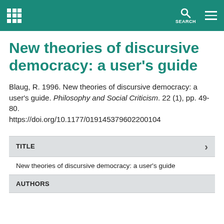New theories of discursive democracy: a user's guide — repository page header
New theories of discursive democracy: a user's guide
Blaug, R. 1996. New theories of discursive democracy: a user's guide. Philosophy and Social Criticism. 22 (1), pp. 49-80. https://doi.org/10.1177/019145379602200104
| TITLE |  |
| --- | --- |
| New theories of discursive democracy: a user's guide |  |
| AUTHORS |
| --- |